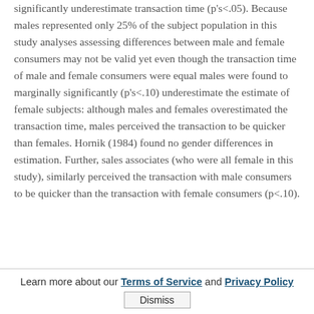significantly underestimate transaction time (p's<.05). Because males represented only 25% of the subject population in this study analyses assessing differences between male and female consumers may not be valid yet even though the transaction time of male and female consumers were equal males were found to marginally significantly (p's<.10) underestimate the estimate of female subjects: although males and females overestimated the transaction time, males perceived the transaction to be quicker than females. Hornik (1984) found no gender differences in estimation. Further, sales associates (who were all female in this study), similarly perceived the transaction with male consumers to be quicker than the transaction with female consumers (p<.10).
Learn more about our Terms of Service and Privacy Policy  Dismiss